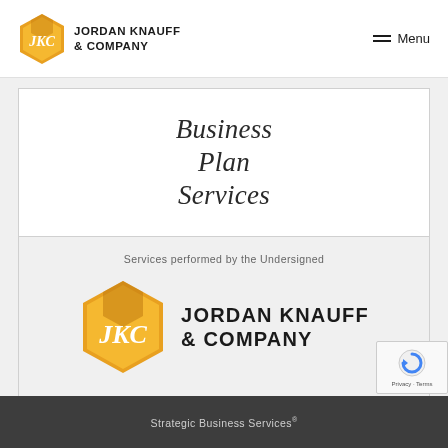JORDAN KNAUFF & COMPANY | Menu
Business Plan Services
Services performed by the Undersigned
[Figure (logo): Jordan Knauff & Company logo — hexagonal gold JKC badge with company name in bold sans-serif]
Strategic Business Services®